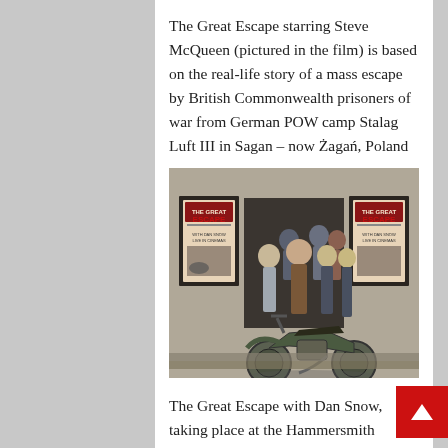The Great Escape starring Steve McQueen (pictured in the film) is based on the real-life story of a mass escape by British Commonwealth prisoners of war from German POW camp Stalag Luft III in Sagan – now Żagań, Poland
[Figure (photo): Group of people standing in front of a building with 'The Great Escape' posters on either side, with a vintage green motorcycle in the foreground.]
The Great Escape with Dan Snow, taking place at the Hammersmith Apollo and broadcast live in cinemas